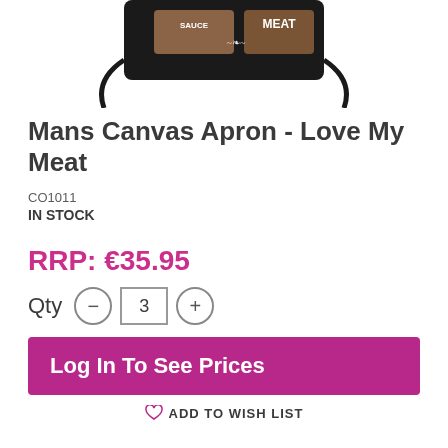[Figure (photo): Black canvas apron with 'Love My Meat' branding showing at top of image, partially cropped]
Mans Canvas Apron - Love My Meat
CO1011
IN STOCK
RRP: €35.95
Qty  3
Log In To See Prices
ADD TO WISH LIST